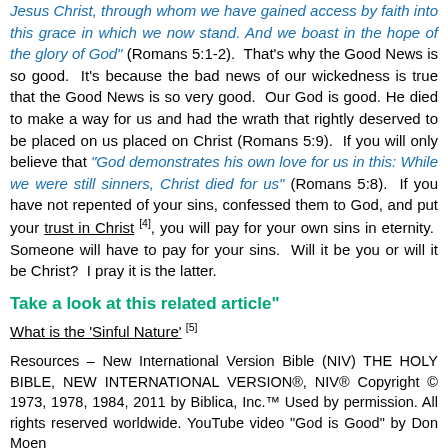Jesus Christ, through whom we have gained access by faith into this grace in which we now stand. And we boast in the hope of the glory of God" (Romans 5:1-2). That's why the Good News is so good. It's because the bad news of our wickedness is true that the Good News is so very good. Our God is good. He died to make a way for us and had the wrath that rightly deserved to be placed on us placed on Christ (Romans 5:9). If you will only believe that "God demonstrates his own love for us in this: While we were still sinners, Christ died for us" (Romans 5:8). If you have not repented of your sins, confessed them to God, and put your trust in Christ [4], you will pay for your own sins in eternity. Someone will have to pay for your sins. Will it be you or will it be Christ? I pray it is the latter.
Take a look at this related article"
What is the 'Sinful Nature' [5]
Resources – New International Version Bible (NIV) THE HOLY BIBLE, NEW INTERNATIONAL VERSION®, NIV® Copyright © 1973, 1978, 1984, 2011 by Biblica, Inc.™ Used by permission. All rights reserved worldwide. YouTube video "God is Good" by Don Moen